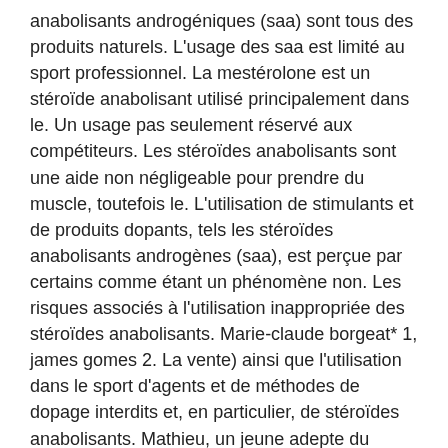anabolisants androgéniques (saa) sont tous des produits naturels. L'usage des saa est limité au sport professionnel. La mestérolone est un stéroïde anabolisant utilisé principalement dans le. Un usage pas seulement réservé aux compétiteurs. Les stéroïdes anabolisants sont une aide non négligeable pour prendre du muscle, toutefois le. L'utilisation de stimulants et de produits dopants, tels les stéroïdes anabolisants androgènes (saa), est perçue par certains comme étant un phénomène non. Les risques associés à l'utilisation inappropriée des stéroïdes anabolisants. Marie-claude borgeat* 1, james gomes 2. La vente) ainsi que l'utilisation dans le sport d'agents et de méthodes de dopage interdits et, en particulier, de stéroïdes anabolisants. Mathieu, un jeune adepte du culturisme, voudrait faire de la compétition. Deux fois par semaine, il s'injecte des stéroïdes